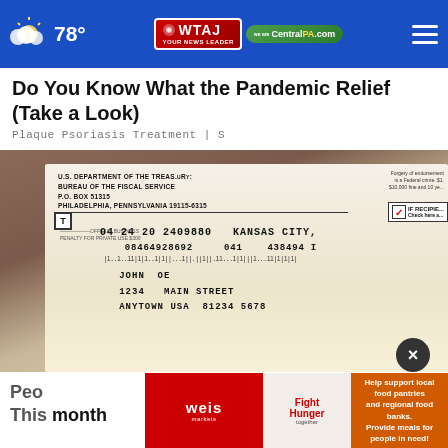78° WTAJ CentralPA.com
Do You Know What the Pandemic Relief (Take a Look)
Plaque Psoriasis Treatment | S
[Figure (photo): A hand holding a U.S. Department of the Treasury, Bureau of the Fiscal Service check envelope addressed to JOHN OE, 1234 MAIN STREET, ANYTOWN USA 81234 5678, with check number 04 24 20 2409880 KANSAS CITY, 08464928692 041 438494 I]
Peo This month
Help support local food pantries and regional food banks. Provide meals for people in need!